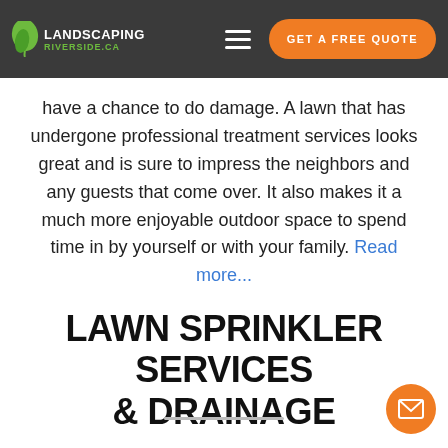Landscaping Riverside CA — GET A FREE QUOTE
take care of the extra details... prevention, and tackling law... have a chance to do damage. A lawn that has undergone professional treatment services looks great and is sure to impress the neighbors and any guests that come over. It also makes it a much more enjoyable outdoor space to spend time in by yourself or with your family. Read more...
LAWN SPRINKLER SERVICES & DRAINAGE